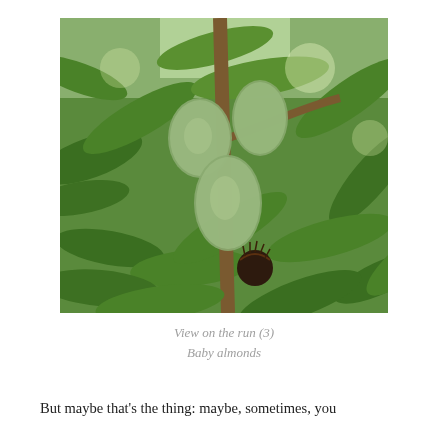[Figure (photo): Close-up photograph of baby almonds growing on a tree branch among green leaves. The almonds are round and fuzzy with a grey-green color. A dark spiky seed pod is visible at the bottom center.]
View on the run (3)
Baby almonds
But maybe that's the thing: maybe, sometimes, you